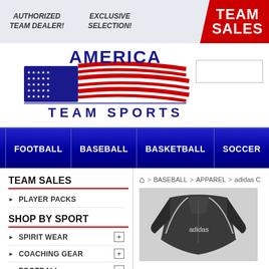AUTHORIZED TEAM DEALER! | EXCLUSIVE SELECTION! | TEAM SALES
[Figure (logo): America Team Sports logo with American flag graphic and bold text]
[Figure (screenshot): Navigation bar with Football, Baseball, Basketball, Soccer menu items on dark blue background]
TEAM SALES
PLAYER PACKS
SHOP BY SPORT
SPIRIT WEAR
COACHING GEAR
FOOTBALL
> BASEBALL > APPAREL > adidas C
[Figure (photo): Dark grey Adidas quarter-zip pullover jacket with white piping details]